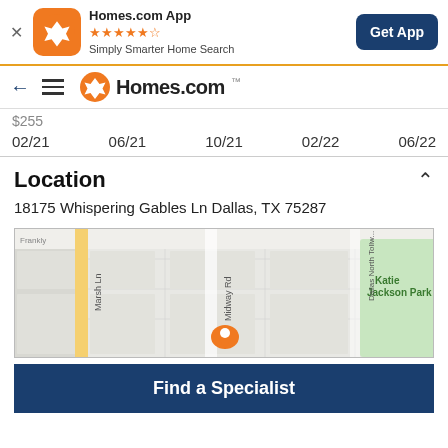[Figure (screenshot): App banner with Homes.com App icon, star rating, tagline, and Get App button]
[Figure (screenshot): Navigation bar with back arrow, hamburger menu, and Homes.com logo]
[Figure (continuous-plot): Partial price history chart showing x-axis date labels: 02/21, 06/21, 10/21, 02/22, 06/22]
Location
18175 Whispering Gables Ln Dallas, TX 75287
[Figure (map): Map showing location near Marsh Ln, Midway Rd, Dallas North Tollway, and Katie Jackson Park with orange location pin]
Find a Specialist